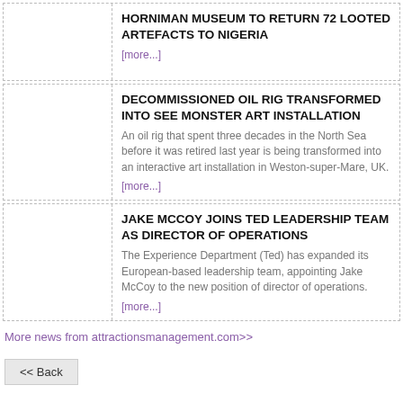HORNIMAN MUSEUM TO RETURN 72 LOOTED ARTEFACTS TO NIGERIA
[more...]
DECOMMISSIONED OIL RIG TRANSFORMED INTO SEE MONSTER ART INSTALLATION
An oil rig that spent three decades in the North Sea before it was retired last year is being transformed into an interactive art installation in Weston-super-Mare, UK. [more...]
JAKE MCCOY JOINS TED LEADERSHIP TEAM AS DIRECTOR OF OPERATIONS
The Experience Department (Ted) has expanded its European-based leadership team, appointing Jake McCoy to the new position of director of operations. [more...]
More news from attractionsmanagement.com>>
<< Back